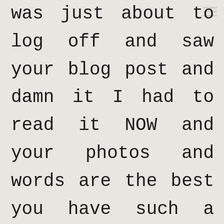was just about to log off and saw your blog post and damn it I had to read it NOW and your photos and words are the best you have such a gift baby. Im with you on the not going shopping I cant bear the crowds and people getting ratty. We did a food shop this afternoon at our supermarket and I swear you would of thought tomorrow was